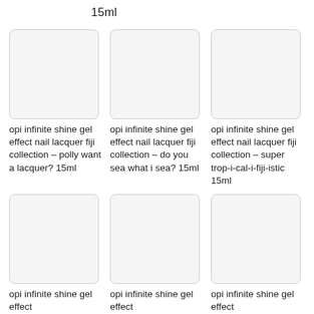15ml
[Figure (photo): Product image placeholder - white/light gray rectangle with rounded corners]
opi infinite shine gel effect nail lacquer fiji collection – polly want a lacquer? 15ml
[Figure (photo): Product image placeholder - white/light gray rectangle with rounded corners]
opi infinite shine gel effect nail lacquer fiji collection – do you sea what i sea? 15ml
[Figure (photo): Product image placeholder - white/light gray rectangle with rounded corners]
opi infinite shine gel effect nail lacquer fiji collection – super trop-i-cal-i-fiji-istic 15ml
[Figure (photo): Product image placeholder - white/light gray rectangle with rounded corners]
opi infinite shine gel effect
[Figure (photo): Product image placeholder - white/light gray rectangle with rounded corners]
opi infinite shine gel effect
[Figure (photo): Product image placeholder - white/light gray rectangle with rounded corners]
opi infinite shine gel effect